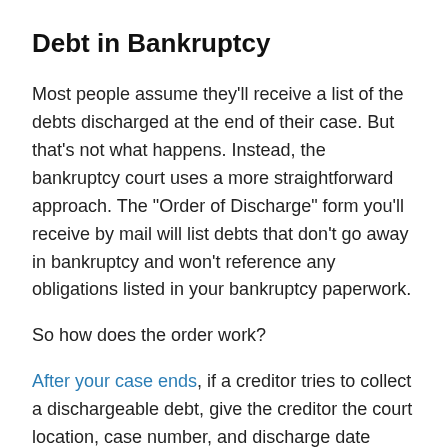Debt in Bankruptcy
Most people assume they'll receive a list of the debts discharged at the end of their case. But that's not what happens. Instead, the bankruptcy court uses a more straightforward approach. The "Order of Discharge" form you'll receive by mail will list debts that don't go away in bankruptcy and won't reference any obligations listed in your bankruptcy paperwork.
So how does the order work?
After your case ends, if a creditor tries to collect a dischargeable debt, give the creditor the court location, case number, and discharge date listed at the top of the order. Creditors almost always stop